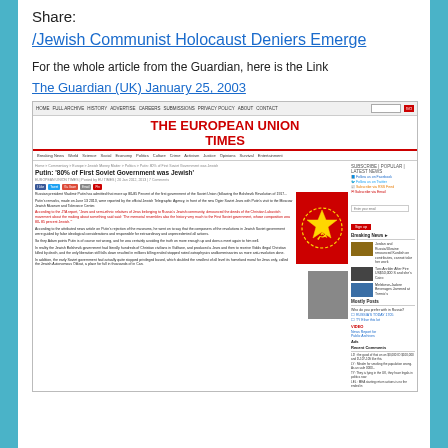Share:
/Jewish Communist Holocaust Deniers Emerge
For the whole article from the Guardian, here is the Link
The Guardian (UK) January 25, 2003
[Figure (screenshot): Screenshot of The European Union Times website showing an article titled 'Putin: 80% of First Soviet Government was Jewish' with a Soviet emblem image and a photo of Putin, along with sidebar navigation and social media links.]